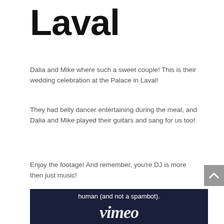Laval
Dalia and Mike where such a sweet couple! This is their wedding celebration at the Palace in Laval!
They had belly dancer entertaining during the meal, and Dalia and Mike played their guitars and sang for us too!
Enjoy the footage! And remember, you're DJ is more then just music!
[Figure (screenshot): Vimeo embedded video player showing text 'human (and not a spambot).' on a dark navy background with partial Vimeo logo text visible at the bottom]